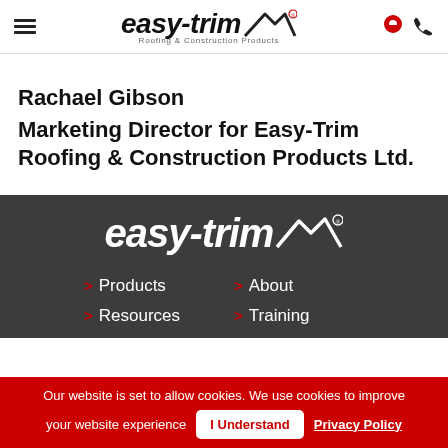easy-trim Roofing & Construction Products — navigation header with hamburger menu, logo, location and phone icons
Rachael Gibson
Marketing Director for Easy-Trim Roofing & Construction Products Ltd.
[Figure (logo): easy-trim logo in white on dark grey background with roof/chevron graphic]
> Products
> Resources
> About
> Training
Our website is set to allow cookies. We use cookies to improve your website experience  I Understand  Privacy Policy